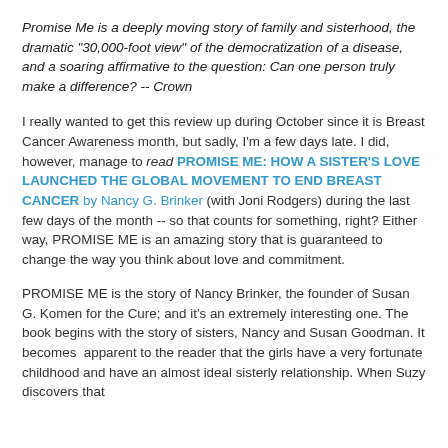Promise Me is a deeply moving story of family and sisterhood, the dramatic "30,000-foot view" of the democratization of a disease, and a soaring affirmative to the question: Can one person truly make a difference? -- Crown
I really wanted to get this review up during October since it is Breast Cancer Awareness month, but sadly, I'm a few days late. I did, however, manage to read PROMISE ME: HOW A SISTER'S LOVE LAUNCHED THE GLOBAL MOVEMENT TO END BREAST CANCER by Nancy G. Brinker (with Joni Rodgers) during the last few days of the month -- so that counts for something, right? Either way, PROMISE ME is an amazing story that is guaranteed to change the way you think about love and commitment.
PROMISE ME is the story of Nancy Brinker, the founder of Susan G. Komen for the Cure; and it's an extremely interesting one. The book begins with the story of sisters, Nancy and Susan Goodman. It becomes apparent to the reader that the girls have a very fortunate childhood and have an almost ideal sisterly relationship. When Suzy discovers that...